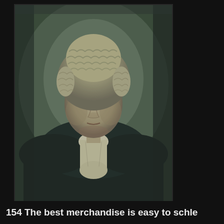[Figure (photo): Black and white vintage portrait photograph of a man wearing a barrister's wig and legal robes with a white jabot/cravat, seated, looking directly at camera. The style suggests early 20th century legal portrait photography.]
154 The best merchandise is easy to schle